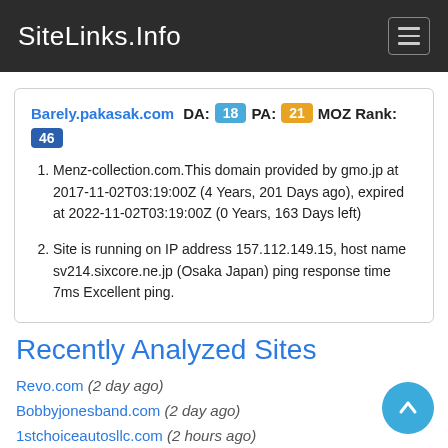SiteLinks.Info
Barely.pakasak.com  DA: 18  PA: 21  MOZ Rank: 46
Menz-collection.com.This domain provided by gmo.jp at 2017-11-02T03:19:00Z (4 Years, 201 Days ago), expired at 2022-11-02T03:19:00Z (0 Years, 163 Days left)
Site is running on IP address 157.112.149.15, host name sv214.sixcore.ne.jp (Osaka Japan) ping response time 7ms Excellent ping.
Recently Analyzed Sites
Revo.com (2 day ago)
Bobbyjonesband.com (2 day ago)
1stchoiceautosllc.com (2 hours ago)